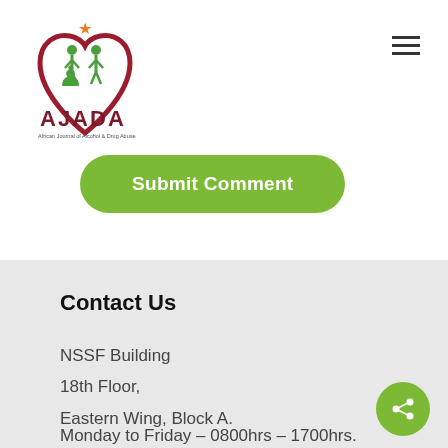[Figure (logo): AJADA logo with red heart, green figures, orange star, and text 'AJADA' in dark red with subtitle 'African Journal of Alcohol & Drug Abuse']
Submit Comment
Contact Us
NSSF Building
18th Floor,
Eastern Wing, Block A.
Monday to Friday – 0800hrs – 1700hrs.